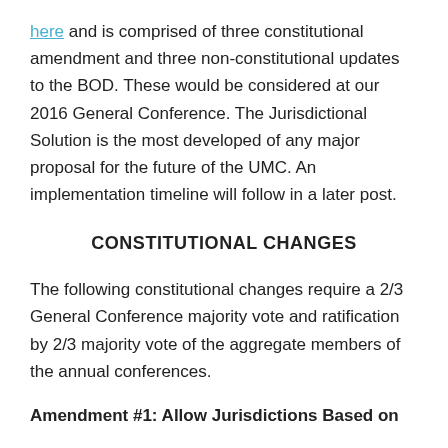here and is comprised of three constitutional amendment and three non-constitutional updates to the BOD.  These would be considered at our 2016 General Conference.  The Jurisdictional Solution is the most developed of any major proposal for the future of the UMC.  An implementation timeline will follow in a later post.
CONSTITUTIONAL CHANGES
The following constitutional changes require a 2/3 General Conference majority vote and ratification by 2/3 majority vote of the aggregate members of the annual conferences.
Amendment #1:  Allow Jurisdictions Based on